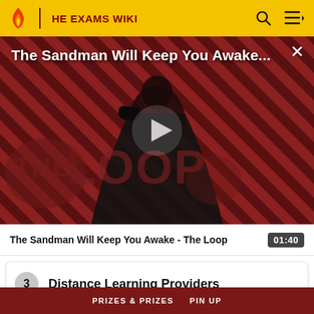HE EXAMS WIKI
[Figure (screenshot): Video thumbnail showing The Sandman character in black costume against a red and black diagonal striped background with 'THE LOOP' text overlay and a play button in the center]
The Sandman Will Keep You Awake...
The Sandman Will Keep You Awake - The Loop  01:40
3  Distance Learning Providers